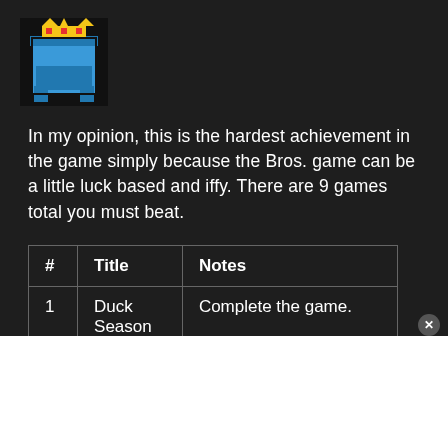[Figure (logo): Pixel art game icon showing a golden crown on a blue throne/chair with a dark background]
In my opinion, this is the hardest achievement in the game simply because the Bros. game can be a little luck based and iffy. There are 9 games total you must beat.
| # | Title | Notes |
| --- | --- | --- |
| 1 | Duck Season | Complete the game. |
|  |  |  |